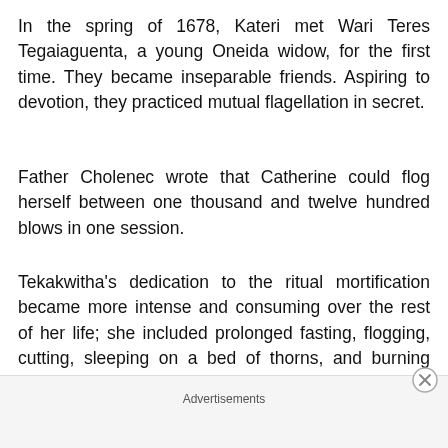In the spring of 1678, Kateri met Wari Teres Tegaiaguenta, a young Oneida widow, for the first time. They became inseparable friends. Aspiring to devotion, they practiced mutual flagellation in secret.
Father Cholenec wrote that Catherine could flog herself between one thousand and twelve hundred blows in one session.
Tekakwitha's dedication to the ritual mortification became more intense and consuming over the rest of her life; she included prolonged fasting, flogging, cutting, sleeping on a bed of thorns, and burning herself with hot coals.
Her spiritual directors became concerned because of her
Advertisements